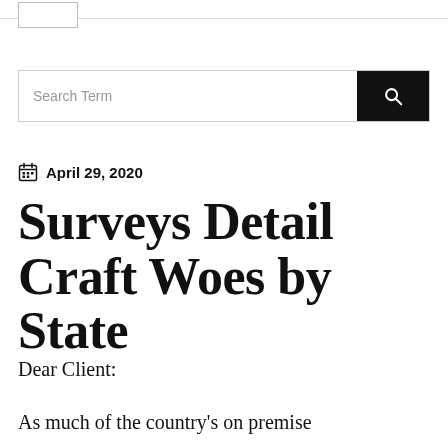Search Term
April 29, 2020
Surveys Detail Craft Woes by State
Dear Client:
As much of the country's on premise